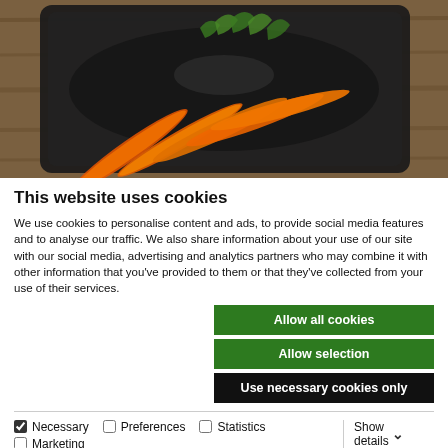[Figure (photo): Overhead view of orange carrots on a dark roasting tray placed on a wooden surface]
This website uses cookies
We use cookies to personalise content and ads, to provide social media features and to analyse our traffic. We also share information about your use of our site with our social media, advertising and analytics partners who may combine it with other information that you've provided to them or that they've collected from your use of their services.
Allow all cookies
Allow selection
Use necessary cookies only
Necessary   Preferences   Statistics   Marketing   Show details